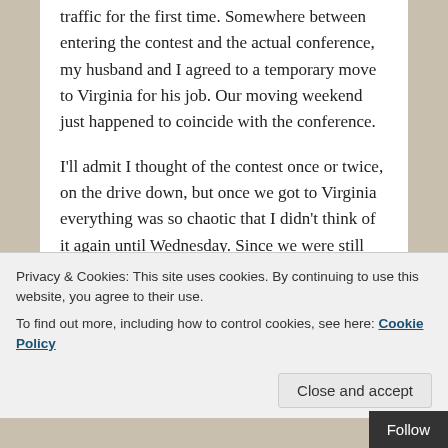traffic for the first time. Somewhere between entering the contest and the actual conference, my husband and I agreed to a temporary move to Virginia for his job. Our moving weekend just happened to coincide with the conference.

I'll admit I thought of the contest once or twice, on the drive down, but once we got to Virginia everything was so chaotic that I didn't think of it again until Wednesday. Since we were still without Internet access, I called my mom and helped her access my email. I paced our still furniture-less apartment as she scanned the messages, looking for the right one. You probably didn't win, I told myself. Don't expect to win.
Privacy & Cookies: This site uses cookies. By continuing to use this website, you agree to their use.
To find out more, including how to control cookies, see here: Cookie Policy
Battle of the Hexes, Kristin Baxter."